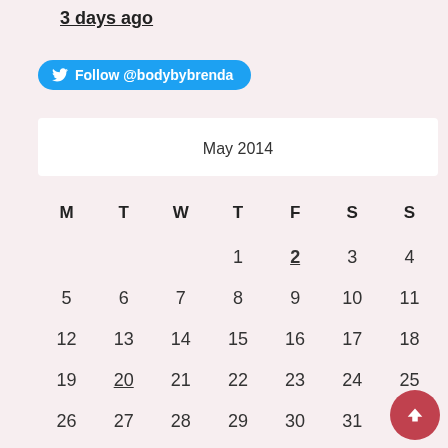3 days ago
[Figure (other): Twitter follow button: Follow @bodybybrenda]
| M | T | W | T | F | S | S |
| --- | --- | --- | --- | --- | --- | --- |
|  |  |  | 1 | 2 | 3 | 4 |
| 5 | 6 | 7 | 8 | 9 | 10 | 11 |
| 12 | 13 | 14 | 15 | 16 | 17 | 18 |
| 19 | 20 | 21 | 22 | 23 | 24 | 25 |
| 26 | 27 | 28 | 29 | 30 | 31 |  |